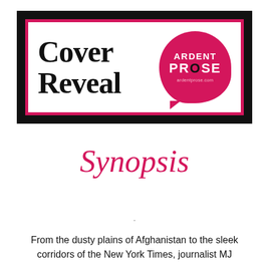[Figure (logo): Cover Reveal banner with Ardent Prose logo. Black outer border, pink/crimson inner border, 'Cover Reveal' in large serif bold text on the left, Ardent Prose circular logo in crimson on the right.]
Synopsis
.
From the dusty plains of Afghanistan to the sleek corridors of the New York Times, journalist MJ